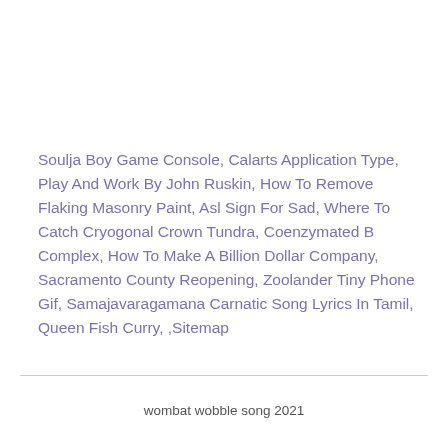Soulja Boy Game Console, Calarts Application Type, Play And Work By John Ruskin, How To Remove Flaking Masonry Paint, Asl Sign For Sad, Where To Catch Cryogonal Crown Tundra, Coenzymated B Complex, How To Make A Billion Dollar Company, Sacramento County Reopening, Zoolander Tiny Phone Gif, Samajavaragamana Carnatic Song Lyrics In Tamil, Queen Fish Curry, ,Sitemap
wombat wobble song 2021